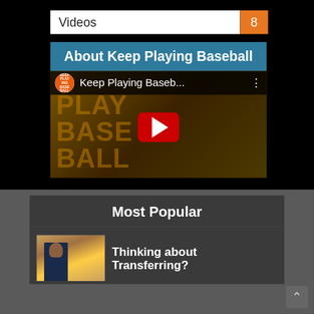Videos 8
About Keep Playing Baseball
[Figure (screenshot): YouTube video thumbnail for 'Keep Playing Baseb...' with logo, title bar, and red play button over a baseball-themed background]
Most Popular
[Figure (photo): Thumbnail photo of a young person in a blue shirt sitting at a desk]
Thinking about Transferring?